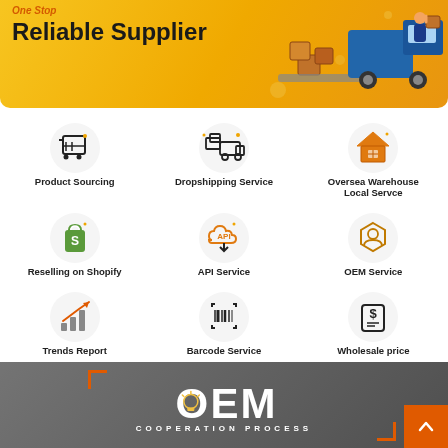[Figure (infographic): Yellow banner with 'One Stop Reliable Supplier' text and delivery truck illustration with boxes]
[Figure (infographic): 3x3 grid of service icons: Product Sourcing (cart icon), Dropshipping Service (truck icon), Oversea Warehouse Local Servce (house icon), Reselling on Shopify (Shopify bag icon), API Service (cloud icon), OEM Service (badge icon), Trends Report (bar chart icon), Barcode Service (barcode icon), Wholesale price (dollar tag icon)]
Product Sourcing
Dropshipping Service
Oversea Warehouse Local Servce
Reselling on Shopify
API Service
OEM Service
Trends Report
Barcode Service
Wholesale price
[Figure (infographic): Dark banner showing OEM COOPERATION PROCESS text with lightbulb icon inside the O, bracket corner decorations in orange, and an orange scroll-to-top button]